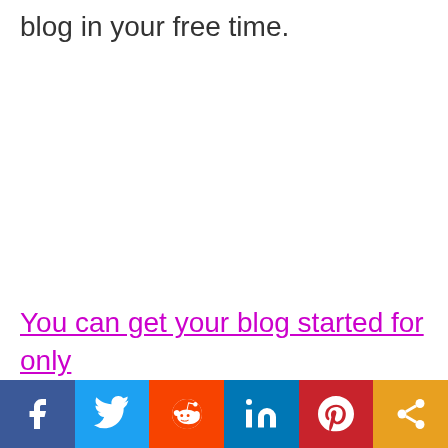You can do it as your full-time job or just blog in your free time.
You can get your blog started for only
[Figure (infographic): Social sharing bar with icons for Facebook, Twitter, Reddit, LinkedIn, Pinterest, and a generic share button]